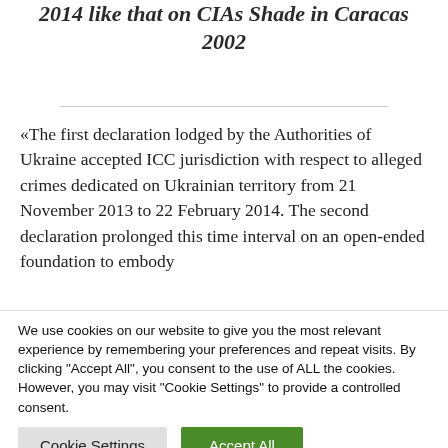2014 like that on CIAs Shade in Caracas 2002
«The first declaration lodged by the Authorities of Ukraine accepted ICC jurisdiction with respect to alleged crimes dedicated on Ukrainian territory from 21 November 2013 to 22 February 2014. The second declaration prolonged this time interval on an open-ended foundation to embody
We use cookies on our website to give you the most relevant experience by remembering your preferences and repeat visits. By clicking "Accept All", you consent to the use of ALL the cookies. However, you may visit "Cookie Settings" to provide a controlled consent.